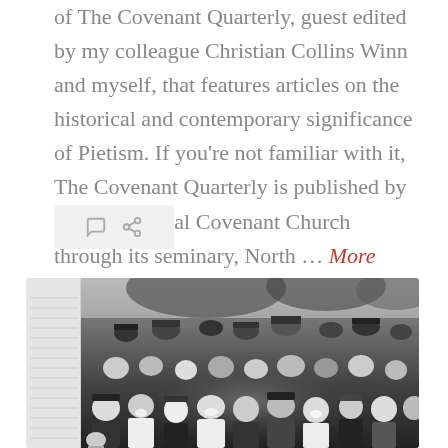of The Covenant Quarterly, guest edited by my colleague Christian Collins Winn and myself, that features articles on the historical and contemporary significance of Pietism. If you're not familiar with it, The Covenant Quarterly is published by the Evangelical Covenant Church through its seminary, North … More
[Figure (other): Social media share/comment icon bar with comment bubble and link icons in light grey]
[Figure (photo): Black and white historical photograph of a large crowd of people, men women and children, many wearing hats typical of early 20th century, gathered outdoors with trees in background and a building on the left side]